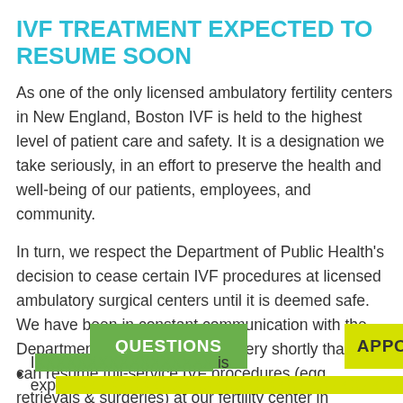IVF TREATMENT EXPECTED TO RESUME SOON
As one of the only licensed ambulatory fertility centers in New England, Boston IVF is held to the highest level of patient care and safety. It is a designation we take seriously, in an effort to preserve the health and well-being of our patients, employees, and community.
In turn, we respect the Department of Public Health's decision to cease certain IVF procedures at licensed ambulatory surgical centers until it is deemed safe. We have been in constant communication with the Department and expect to hear very shortly that we can resume full-service IVF procedures (egg retrievals & surgeries) at our fertility center in Waltham, MA.
QUESTIONS
APPOINTMENTS
I[...] is exp[ected to resume...]